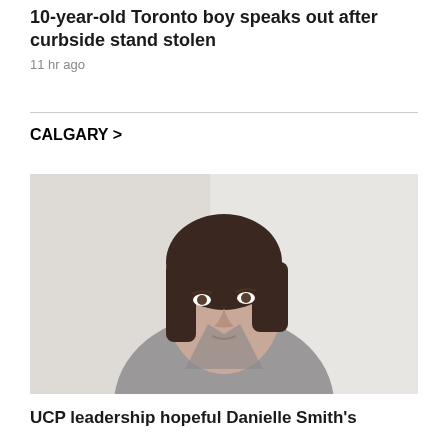10-year-old Toronto boy speaks out after curbside stand stolen
11 hr ago
CALGARY >
[Figure (photo): Woman with dark shoulder-length hair wearing a grey blazer, looking slightly off-camera to the left, against a plain light background.]
UCP leadership hopeful Danielle Smith's